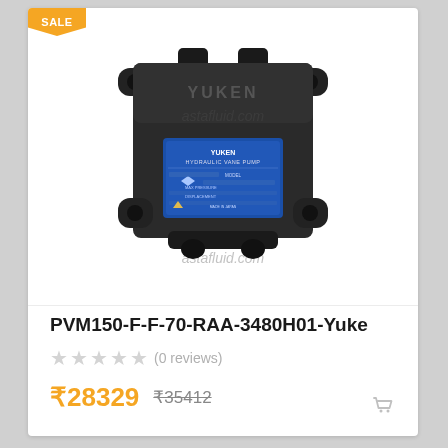[Figure (photo): Black hydraulic vane pump (Yuken brand) with blue specification label in the center, viewed from front. Watermark 'astafluid.com' overlaid on image.]
PVM150-F-F-70-RAA-3480H01-Yuke
★★★★★ (0 reviews)
₹28329  ₹35412